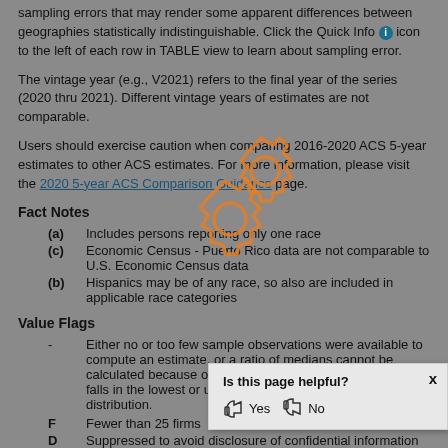sampling errors that may render some apparent differences between geographies statistically indistinguishable. Click the Quick Info icon to the left of each row in TABLE view to learn about sampling error.
The vintage year (e.g., V2021) refers to the final year of the series (2020 thru 2021). Different vintage years of estimates are not comparable.
Users should exercise caution when comparing 2016-2020 ACS 5-year estimates to other ACS estimates. For more information, please visit the 2020 5-year ACS Comparison Guidance page.
Fact Notes
(a)   Includes persons reporting only one race
(c)   Economic Census - Puerto Rico data are not comparable to U.S. Economic Census data
(b)   Hispanics may be of any race, so also are included in applicable race categories
Value Flags
-   Either no or too few sample observations were available to compute an estimate, or a ratio of medians cannot be calculated because one or both of the median estimates falls in the lowest or upper interval of an open ended distribution.
F   Fewer than 25 firms
D   Suppressed to avoid disclosure of confidential information
N   Data for this geographic area cannot be displayed because the number of sample cases is too small
FN   Footnote on this item in place of
X   Not applicable
S   Suppressed; does not meet publ
NA   Not available